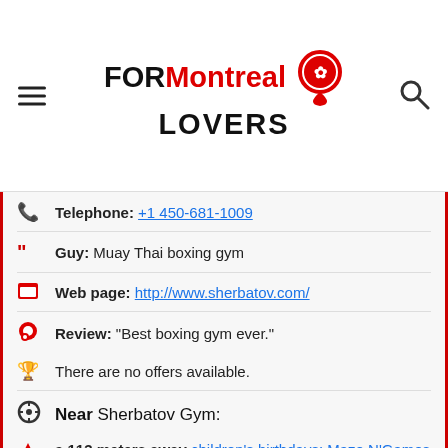FOR Montreal LOVERS
Telephone: +1 450-681-1009
Guy: Muay Thai boxing gym
Web page: http://www.sherbatov.com/
Review: "Best boxing gym ever."
There are no offers available.
Near Sherbatov Gym:
a 113 meters away children's birthdays: Maze N'Games - Laser Tag - Parcours aérien - Jeux vidéo
a 214 meters away self-combing classes: Collège Immobilier du Québec
a 222 meters away juggling shops in: Toys"R"Us